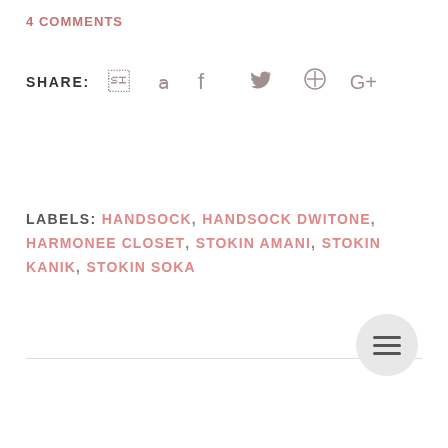4 COMMENTS
SHARE:  f  (twitter)  (pinterest)  G+
LABELS: HANDSOCK, HANDSOCK DWITONE, HARMONEE CLOSET, STOKIN AMANI, STOKIN KANIK, STOKIN SOKA